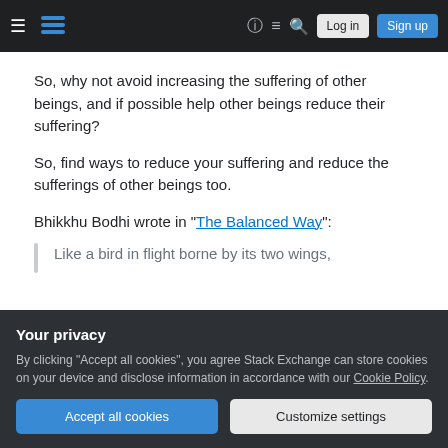Stack Exchange navigation bar with logo, Log in, Sign up buttons
So, why not avoid increasing the suffering of other beings, and if possible help other beings reduce their suffering?
So, find ways to reduce your suffering and reduce the sufferings of other beings too.
Bhikkhu Bodhi wrote in "The Balanced Way":
Like a bird in flight borne by its two wings,
Your privacy
By clicking "Accept all cookies", you agree Stack Exchange can store cookies on your device and disclose information in accordance with our Cookie Policy.
the path to liberation is a personal course of